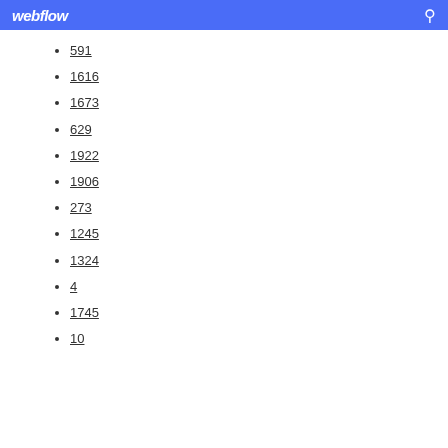webflow
591
1616
1673
629
1922
1906
273
1245
1324
4
1745
10